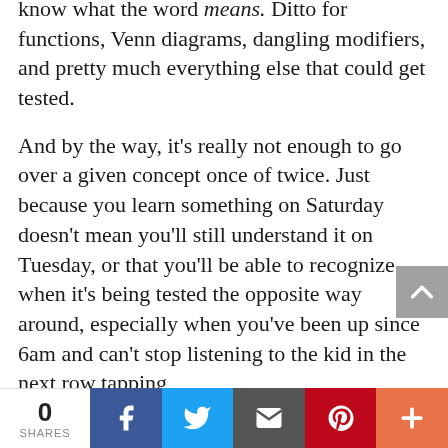I've seen that before if you do not actually know what the word means. Ditto for functions, Venn diagrams, dangling modifiers, and pretty much everything else that could get tested.
And by the way, it's really not enough to go over a given concept once of twice. Just because you learn something on Saturday doesn't mean you'll still understand it on Tuesday, or that you'll be able to recognize when it's being tested the opposite way around, especially when you've been up since 6am and can't stop listening to the kid in the next row tapping
0 SHARES | Facebook | Twitter | Email | Pinterest | More